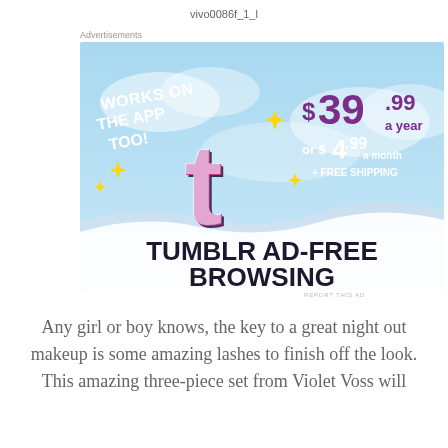vivo0086f_1_l
Advertisements
[Figure (screenshot): Tumblr Ad-Free Browsing advertisement. Sky blue background with clouds. Left side: white bold italic text 'WORKS ON THE APP TOO!' with yellow sparkle stars. Center: Tumblr 't' logo in pink and purple with white outline and sparkle stars. Right side: large purple text '$39.99 a year' and white text 'or $4.99 a month + FREE SHIPPING'. Bottom: white wave design with dark bold text 'TUMBLR AD-FREE BROWSING'.]
REPORT THIS AD
Any girl or boy knows, the key to a great night out makeup is some amazing lashes to finish off the look. This amazing three-piece set from Violet Voss will